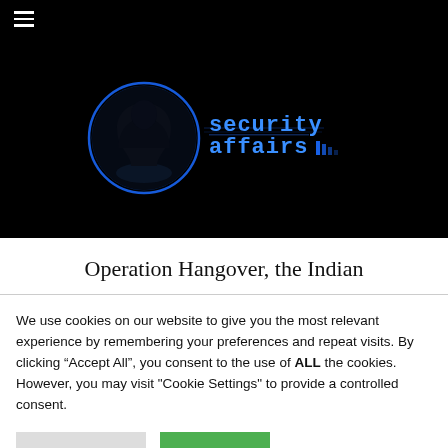≡
[Figure (logo): Security Affairs website logo: hooded figure inside a blue circle on black background with 'security affairs' text in blue tech-style font]
Operation Hangover, the Indian
We use cookies on our website to give you the most relevant experience by remembering your preferences and repeat visits. By clicking "Accept All", you consent to the use of ALL the cookies. However, you may visit "Cookie Settings" to provide a controlled consent.
Cookie Settings | Accept All